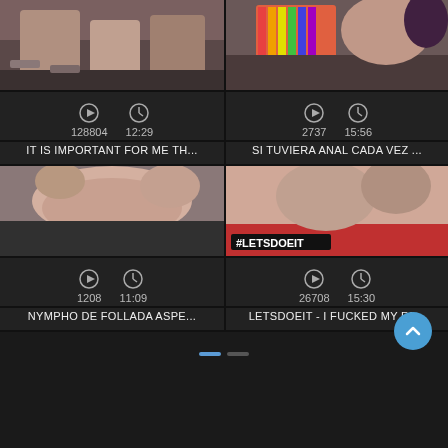[Figure (screenshot): Video thumbnail top-left: adult content image]
[Figure (screenshot): Video thumbnail top-right: adult content image with rainbow clothing]
128804   12:29
2737   15:56
IT IS IMPORTANT FOR ME TH...
SI TUVIERA ANAL CADA VEZ ...
[Figure (screenshot): Video thumbnail bottom-left: adult content close-up]
[Figure (screenshot): Video thumbnail bottom-right: adult content with #LETSDOEIT watermark]
1208   11:09
26708   15:30
NYMPHO DE FOLLADA ASPE...
LETSDOEIT - I FUCKED MY FA...